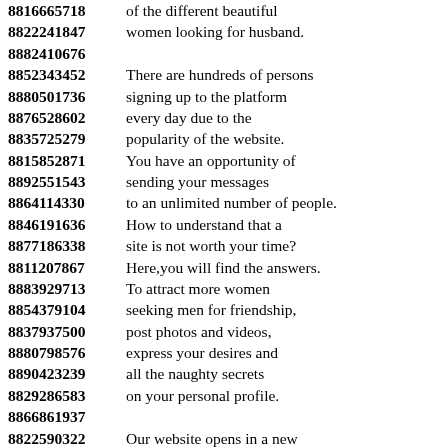8816665718 of the different beautiful
8822241847 women looking for husband.
8882410676
8852343452 There are hundreds of persons
8880501736 signing up to the platform
8876528602 every day due to the
8835725279 popularity of the website.
8815852871 You have an opportunity of
8892551543 sending your messages
8864114330 to an unlimited number of people.
8846191636 How to understand that a
8877186338 site is not worth your time?
8811207867 Here,you will find the answers.
8883929713 To attract more women
8854379104 seeking men for friendship,
8837937500 post photos and videos,
8880798576 express your desires and
8890423239 all the naughty secrets
8829286583 on your personal profile.
8866861937
8822590322 Our website opens in a new
8822657336 opportunities where there are
8874111480 plenty of single women.
8844216220 You don't need to come up with
8841521621 important words for you to